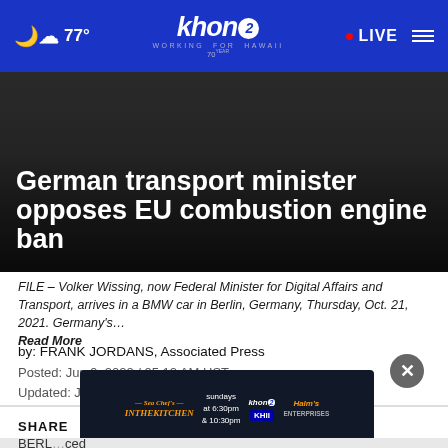khon2 WORKING FOR HAWAII | 77° | LIVE
German transport minister opposes EU combustion engine ban
FILE – Volker Wissing, now Federal Minister for Digital Affairs and Transport, arrives in a BMW car in Berlin, Germany, Thursday, Oct. 21, 2021. Germany's…
Read More
by: FRANK JORDANS, Associated Press
Posted: Jun 9, 2022 / 05:12 AM HST
Updated: Jun 9, 2022 / 05:12 AM HST
SHARE
BERL...ced